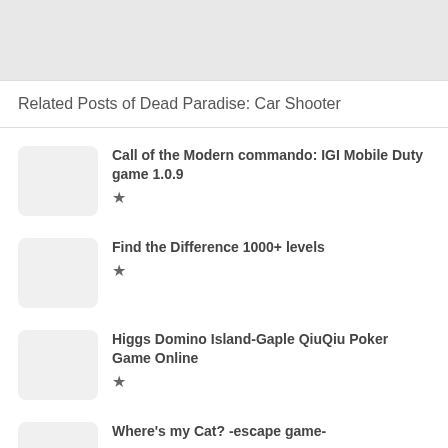Related Posts of Dead Paradise: Car Shooter
Call of the Modern commando: IGI Mobile Duty game 1.0.9
Find the Difference 1000+ levels
Higgs Domino Island-Gaple QiuQiu Poker Game Online
Where's my Cat? -escape game-